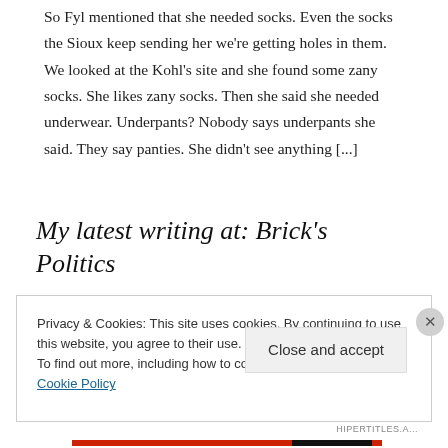So Fyl mentioned that she needed socks. Even the socks the Sioux keep sending her we're getting holes in them. We looked at the Kohl's site and she found some zany socks. She likes zany socks. Then she said she needed underwear. Underpants? Nobody says underpants she said. They say panties. She didn't see anything [...]
My latest writing at: Brick's Politics
Privacy & Cookies: This site uses cookies. By continuing to use this website, you agree to their use.
To find out more, including how to control cookies, see here: Cookie Policy